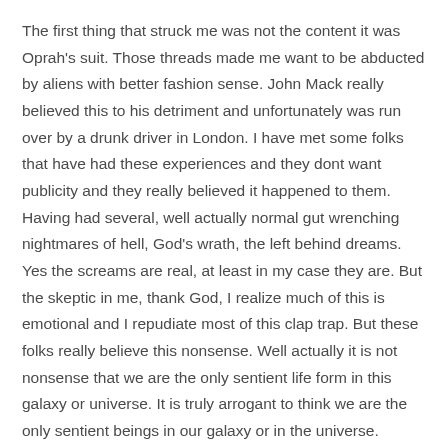The first thing that struck me was not the content it was Oprah's suit. Those threads made me want to be abducted by aliens with better fashion sense. John Mack really believed this to his detriment and unfortunately was run over by a drunk driver in London. I have met some folks that have had these experiences and they dont want publicity and they really believed it happened to them. Having had several, well actually normal gut wrenching nightmares of hell, God's wrath, the left behind dreams. Yes the screams are real, at least in my case they are. But the skeptic in me, thank God, I realize much of this is emotional and I repudiate most of this clap trap. But these folks really believe this nonsense. Well actually it is not nonsense that we are the only sentient life form in this galaxy or universe. It is truly arrogant to think we are the only sentient beings in our galaxy or in the universe.
We are not the only lifeforms that have achieved Sentience in this universe, that is a fact. We may not be able to